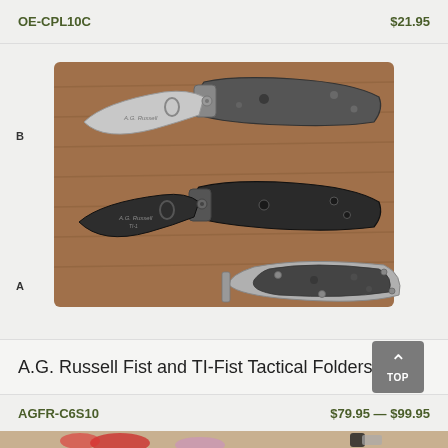OE-CPL10C    $21.95
[Figure (photo): Three folding tactical knives displayed on a wooden cutting board. Top knife has a silver blade and carbon fiber/gray handle. Middle knife has a black blade and black handle. Bottom shows a knife in folded/closed position with carbon fiber handle and silver frame. Labels A and B indicate different models.]
A.G. Russell Fist and TI-Fist Tactical Folders
AGFR-C6S10    $79.95 — $99.95
[Figure (photo): Partial bottom image showing a knife handle against a background with vegetables (peppers, onions). A gray 'TOP' navigation button with an upward arrow is overlaid in the bottom right.]